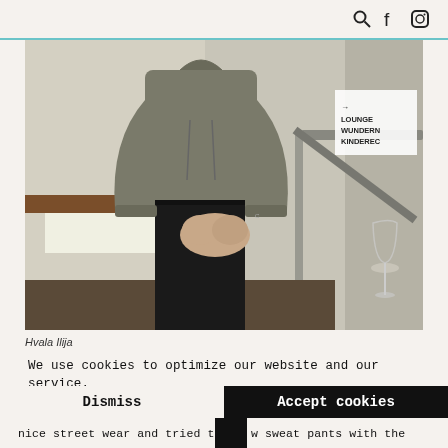search icon, facebook icon, instagram icon
[Figure (photo): Person wearing a grey hoodie and black pants standing indoors near a staircase railing. A sign is visible in the background reading: LOUNGE WUNDERN KINDEREC. A wine glass is on the ledge.]
Hvala Ilija
We use cookies to optimize our website and our service.
Read more - Impressum
Dismiss
Accept cookies
nice street wear and tried to ow sweat pants with the